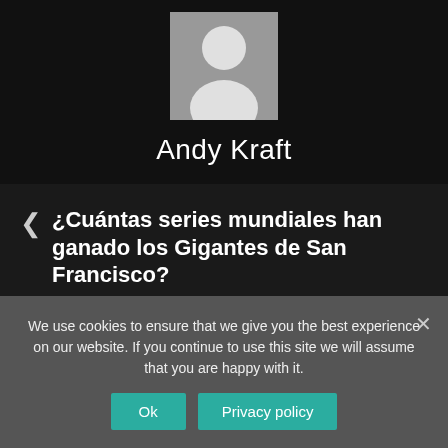[Figure (illustration): Gray avatar placeholder icon showing a person silhouette on a gray background square]
Andy Kraft
¿Cuántas series mundiales han ganado los Gigantes de San Francisco?
Tips on obtaining the profession of freelance business writer
We use cookies to ensure that we give you the best experience on our website. If you continue to use this site we will assume that you are happy with it.